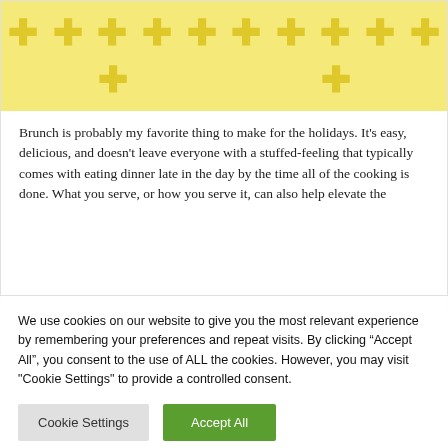[Figure (illustration): Yellow banner background with repeating plus/cross symbols in a slightly darker yellow/gold color, arranged in two rows across the full width.]
Brunch is probably my favorite thing to make for the holidays. It's easy, delicious, and doesn't leave everyone with a stuffed-feeling that typically comes with eating dinner late in the day by the time all of the cooking is done. What you serve, or how you serve it, can also help elevate the
We use cookies on our website to give you the most relevant experience by remembering your preferences and repeat visits. By clicking “Accept All”, you consent to the use of ALL the cookies. However, you may visit "Cookie Settings" to provide a controlled consent.
Cookie Settings   Accept All